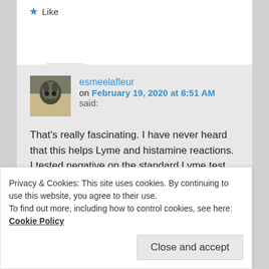★ Like
Reply ↓
esmeelafleur on February 19, 2020 at 8:51 AM said:
That's really fascinating. I have never heard that this helps Lyme and histamine reactions. I tested negative on the standard Lyme test, which I know is notoriously inaccurate. I haven't wanted to
Privacy & Cookies: This site uses cookies. By continuing to use this website, you agree to their use.
To find out more, including how to control cookies, see here: Cookie Policy
Close and accept